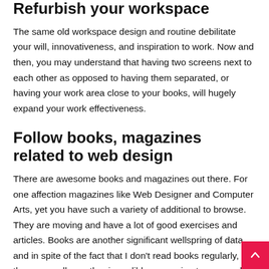Refurbish your workspace
The same old workspace design and routine debilitate your will, innovativeness, and inspiration to work. Now and then, you may understand that having two screens next to each other as opposed to having them separated, or having your work area close to your books, will hugely expand your work effectiveness.
Follow books, magazines related to web design
There are awesome books and magazines out there. For one affection magazines like Web Designer and Computer Arts, yet you have such a variety of additional to browse. They are moving and have a lot of good exercises and articles. Books are another significant wellspring of data, and in spite of the fact that I don't read books regularly, they are really another incredible expansion to your rack.